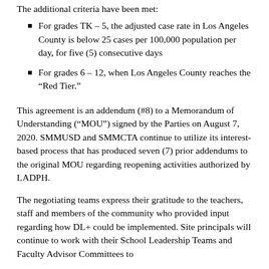The additional criteria have been met:
For grades TK – 5, the adjusted case rate in Los Angeles County is below 25 cases per 100,000 population per day, for five (5) consecutive days
For grades 6 – 12, when Los Angeles County reaches the “Red Tier.”
This agreement is an addendum (#8) to a Memorandum of Understanding (“MOU”) signed by the Parties on August 7, 2020. SMMUSD and SMMCTA continue to utilize its interest-based process that has produced seven (7) prior addendums to the original MOU regarding reopening activities authorized by LADPH.
The negotiating teams express their gratitude to the teachers, staff and members of the community who provided input regarding how DL+ could be implemented. Site principals will continue to work with their School Leadership Teams and Faculty Advisor Committees to